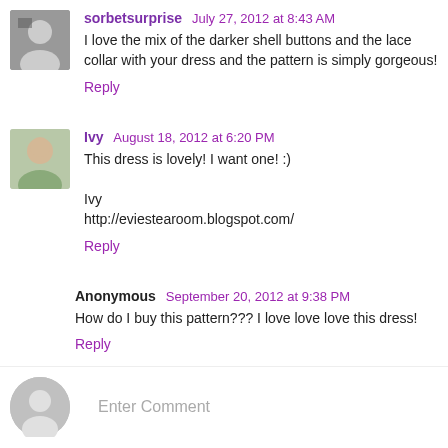sorbetsurprise  July 27, 2012 at 8:43 AM
I love the mix of the darker shell buttons and the lace collar with your dress and the pattern is simply gorgeous!
Reply
Ivy  August 18, 2012 at 6:20 PM
This dress is lovely! I want one! :)
Ivy
http://eviestearoom.blogspot.com/
Reply
Anonymous  September 20, 2012 at 9:38 PM
How do I buy this pattern??? I love love love this dress!
Reply
Enter Comment